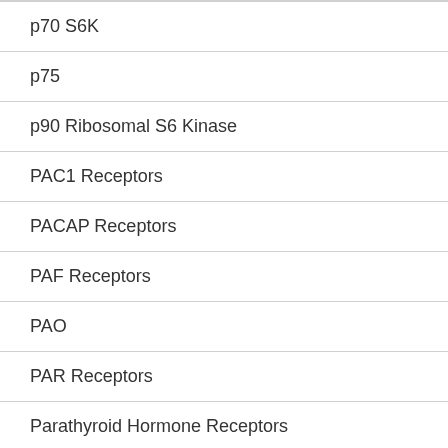| p70 S6K |
| p75 |
| p90 Ribosomal S6 Kinase |
| PAC1 Receptors |
| PACAP Receptors |
| PAF Receptors |
| PAO |
| PAR Receptors |
| Parathyroid Hormone Receptors |
| PARP |
| PC, PLC |